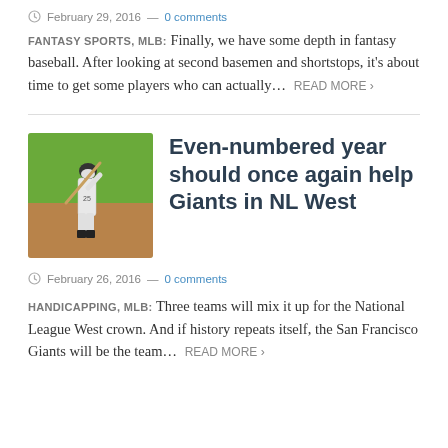February 29, 2016 — 0 comments
FANTASY SPORTS, MLB: Finally, we have some depth in fantasy baseball. After looking at second basemen and shortstops, it's about time to get some players who can actually… READ MORE ›
[Figure (photo): Baseball player in white uniform swinging a bat at home plate, green field background]
Even-numbered year should once again help Giants in NL West
February 26, 2016 — 0 comments
HANDICAPPING, MLB: Three teams will mix it up for the National League West crown. And if history repeats itself, the San Francisco Giants will be the team… READ MORE ›